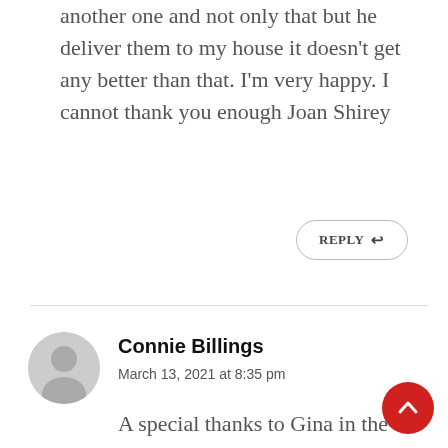another one and not only that but he deliver them to my house it doesn't get any better than that. I'm very happy. I cannot thank you enough Joan Shirey
REPLY ↩
Connie Billings
March 13, 2021 at 8:35 pm
A special thanks to Gina in the pharmacy. Her kindness is always appreciated. Thank you Gina for